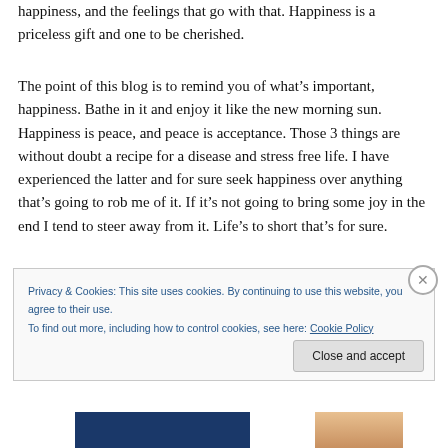happiness, and the feelings that go with that. Happiness is a priceless gift and one to be cherished.
The point of this blog is to remind you of what’s important, happiness. Bathe in it and enjoy it like the new morning sun. Happiness is peace, and peace is acceptance. Those 3 things are without doubt a recipe for a disease and stress free life. I have experienced the latter and for sure seek happiness over anything that’s going to rob me of it. If it’s not going to bring some joy in the end I tend to steer away from it. Life’s to short that’s for sure.
Privacy & Cookies: This site uses cookies. By continuing to use this website, you agree to their use.
To find out more, including how to control cookies, see here: Cookie Policy
Close and accept